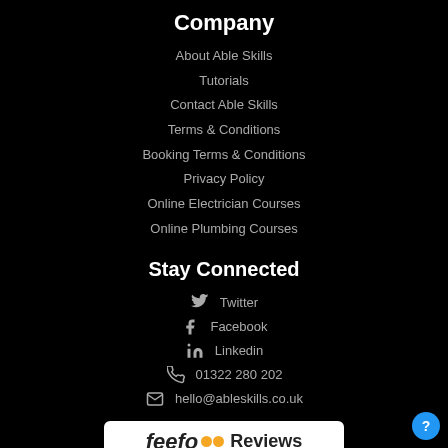Company
About Able Skills
Tutorials
Contact Able Skills
Terms & Conditions
Booking Terms & Conditions
Privacy Policy
Online Electrician Courses
Online Plumbing Courses
Stay Connected
Twitter
Facebook
Linkedin
01322 280 202
hello@ableskills.co.uk
[Figure (logo): Feefo Reviews logo with two orange dots]